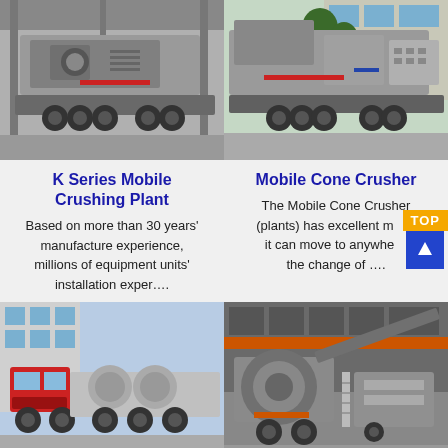[Figure (photo): K Series Mobile Crushing Plant — large grey mobile crusher on trailer with multiple axles, inside industrial shed]
[Figure (photo): Mobile Cone Crusher — grey mobile cone crusher plant on heavy trailer, outdoors near building]
K Series Mobile Crushing Plant
Based on more than 30 years' manufacture experience, millions of equipment units' installation exper….
Mobile Cone Crusher
The Mobile Cone Crusher (plants) has excellent m…y, it can move to anywhe… the change of ….
[Figure (photo): Red truck cab with grey industrial equipment units loaded on flatbed, outdoors near factory building]
[Figure (photo): Mobile crushing plant with orange accent markings inside factory/warehouse building]